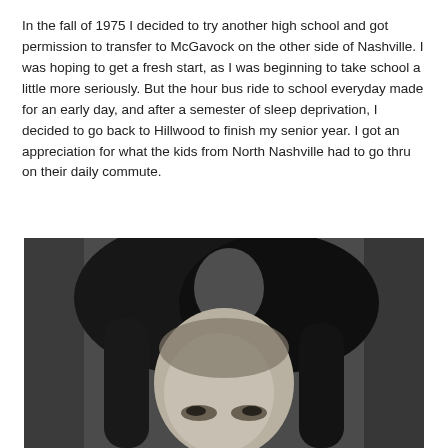In the fall of 1975 I decided to try another high school and got permission to transfer to McGavock on the other side of Nashville. I was hoping to get a fresh start, as I was beginning to take school a little more seriously. But the hour bus ride to school everyday made for an early day, and after a semester of sleep deprivation, I decided to go back to Hillwood to finish my senior year. I got an appreciation for what the kids from North Nashville had to go thru on their daily commute.
[Figure (photo): Black and white photograph showing the top portion of a person's face with long hair, cropped so only the forehead, eyes area and hair are visible.]